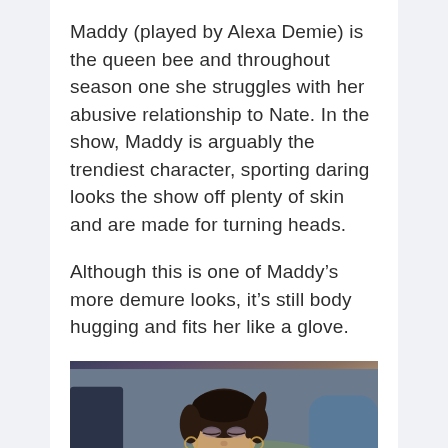Maddy (played by Alexa Demie) is the queen bee and throughout season one she struggles with her abusive relationship to Nate. In the show, Maddy is arguably the trendiest character, sporting daring looks the show off plenty of skin and are made for turning heads.
Although this is one of Maddy's more demure looks, it's still body hugging and fits her like a glove.
[Figure (photo): Photo of a young woman with dark hair pulled back, wearing a light pink/lavender top, looking downward. She has hoop earrings and styled makeup. The background shows an outdoor setting with another person partially visible on the left.]